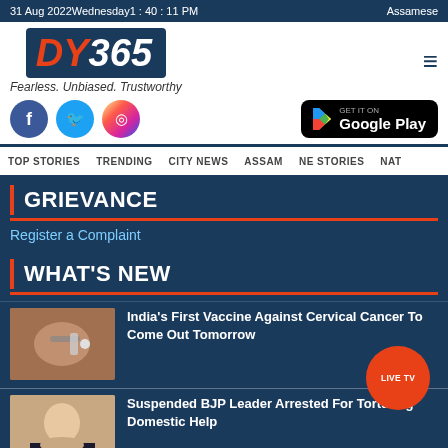31 Aug 2022Wednesday1 : 40 : 11 PM    Assamese
[Figure (logo): DY365 logo with tagline Fearless. Unbiased. Trustworthy]
[Figure (infographic): Social media icons (Facebook, Twitter, Instagram) and Google Play store button]
TOP STORIES  TRENDING  CITY NEWS  ASSAM  NE STORIES  NAT
GRIEVANCE
Register a Complaint
WHAT'S NEW
India's First Vaccine Against Cervical Cancer To Come Out Tomorrow
Suspended BJP Leader Arrested For Torturing Domestic Help